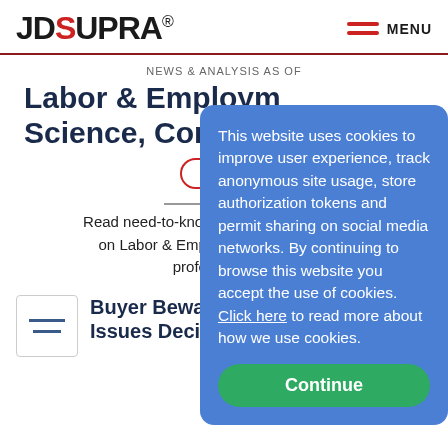JDSupra® MENU
NEWS & ANALYSIS AS OF...
Labor & Employment Science, Computer...
+ Follow
Read need-to-know updates, analysis on Labor & Employment issues, professionals...
This website uses cookies to improve user experience, track anonymous site usage, store authorization tokens and permit sharing on social media networks. By continuing to browse this website you accept the use of cookies. Click here to read more about how we use cookies.
Continue
Buyer Beware: T... Issues Decision Emphasizing